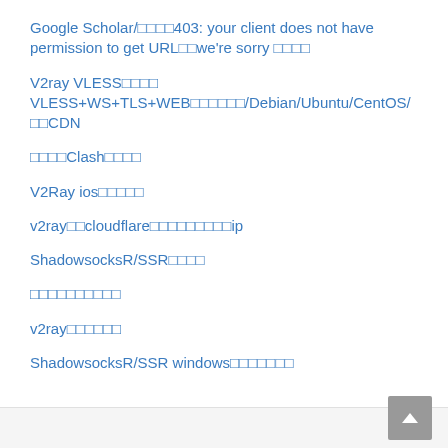Google Scholar/□□□□403: your client does not have permission to get URL□□we're sorry □□□□
V2ray VLESS□□□□ VLESS+WS+TLS+WEB□□□□□□/Debian/Ubuntu/CentOS/□□CDN
□□□□Clash□□□□
V2Ray ios□□□□□
v2ray□□cloudflare□□□□□□□□□ip
ShadowsocksR/SSR□□□□
□□□□□□□□□□
v2ray□□□□□□
ShadowsocksR/SSR windows□□□□□□□